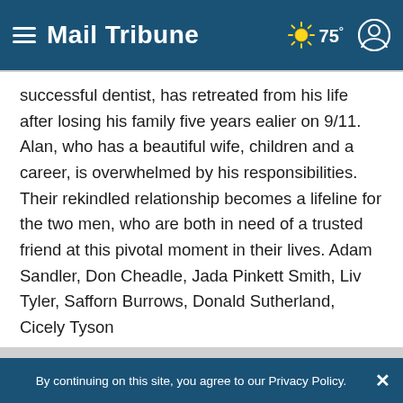Mail Tribune | 75°
successful dentist, has retreated from his life after losing his family five years ealier on 9/11. Alan, who has a beautiful wife, children and a career, is overwhelmed by his responsibilities. Their rekindled relationship becomes a lifeline for the two men, who are both in need of a trusted friend at this pivotal moment in their lives. Adam Sandler, Don Cheadle, Jada Pinkett Smith, Liv Tyler, Safforn Burrows, Donald Sutherland, Cicely Tyson
By continuing on this site, you agree to our Privacy Policy.